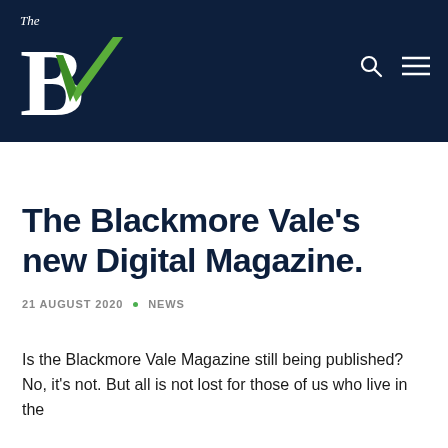[Figure (logo): The Blackmore Vale magazine logo — white serif 'The' above large 'B' with green checkmark/V overlay, on dark navy background with search and hamburger menu icons]
The Blackmore Vale's new Digital Magazine.
21 AUGUST 2020 • NEWS
Is the Blackmore Vale Magazine still being published? No, it's not. But all is not lost for those of us who live in the